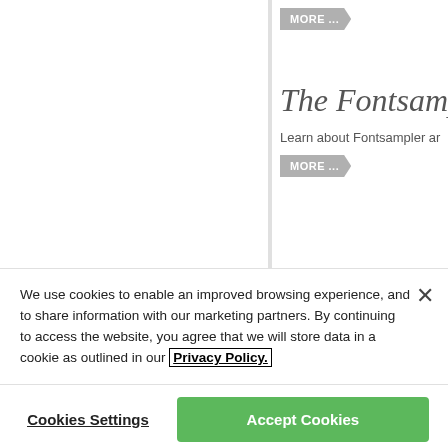[Figure (screenshot): Partial screenshot of a website showing two content panels with 'MORE ...' arrow buttons and a heading 'The Fontsample' in italic serif font, with body text 'Learn about Fontsampler ar...']
We use cookies to enable an improved browsing experience, and to share information with our marketing partners. By continuing to access the website, you agree that we will store data in a cookie as outlined in our Privacy Policy.
Cookies Settings
Accept Cookies